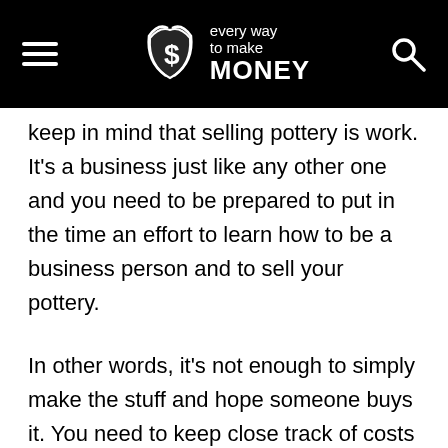every way to make MONEY
keep in mind that selling pottery is work. It's a business just like any other one and you need to be prepared to put in the time an effort to learn how to be a business person and to sell your pottery.
In other words, it's not enough to simply make the stuff and hope someone buys it. You need to keep close track of costs and especially of your time as you make the stuff.